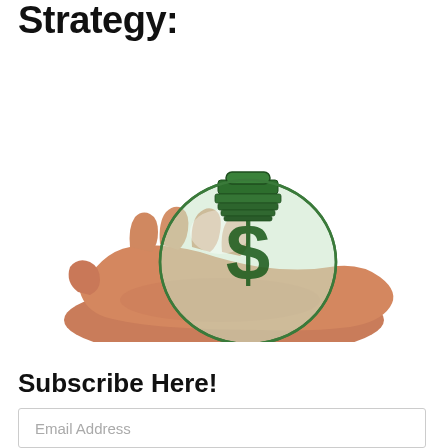Strategy:
[Figure (illustration): A hand holding a green glass light bulb with a dollar sign inside, representing financial strategy or investment idea.]
Subscribe Here!
Email Address